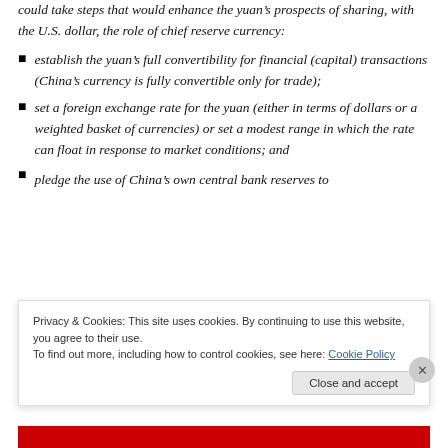could take steps that would enhance the yuan's prospects of sharing, with the U.S. dollar, the role of chief reserve currency:
establish the yuan's full convertibility for financial (capital) transactions (China's currency is fully convertible only for trade);
set a foreign exchange rate for the yuan (either in terms of dollars or a weighted basket of currencies) or set a modest range in which the rate can float in response to market conditions; and
pledge the use of China's own central bank reserves to
Privacy & Cookies: This site uses cookies. By continuing to use this website, you agree to their use.
To find out more, including how to control cookies, see here: Cookie Policy
Close and accept